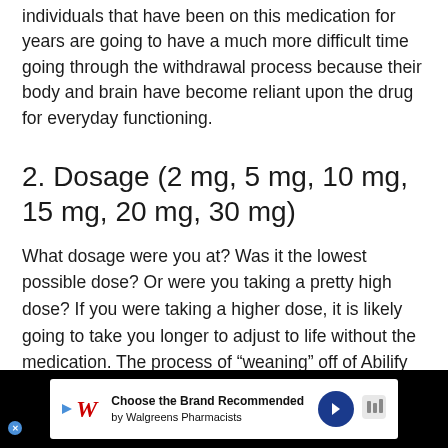individuals that have been on this medication for years are going to have a much more difficult time going through the withdrawal process because their body and brain have become reliant upon the drug for everyday functioning.
2. Dosage (2 mg, 5 mg, 10 mg, 15 mg, 20 mg, 30 mg)
What dosage were you at? Was it the lowest possible dose? Or were you taking a pretty high dose? If you were taking a higher dose, it is likely going to take you longer to adjust to life without the medication. The process of “weaning” off of Abilify will take longer if you were at the daily maximum dose of 30 mg.  Obviously the higher the dose you were on, the more difficulty you will likely have with[...] ng of 15 mg[...]
[Figure (other): Walgreens advertisement banner: 'Choose the Brand Recommended by Walgreens Pharmacists' with Walgreens cursive W logo and blue directional arrow icon.]